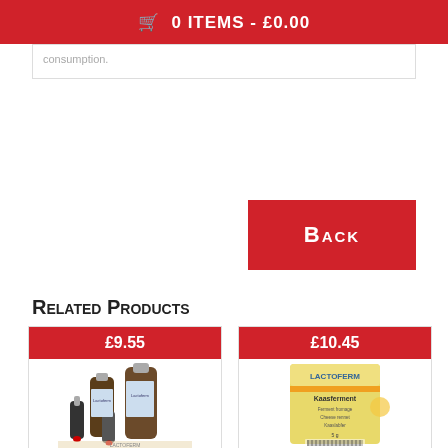🛒 0 ITEMS - £0.00
consumption.
Back
Related Products
[Figure (photo): Product card showing liquid bottles with price £9.55]
[Figure (photo): Product card showing Lactoferm Kaasferment package with price £10.45]